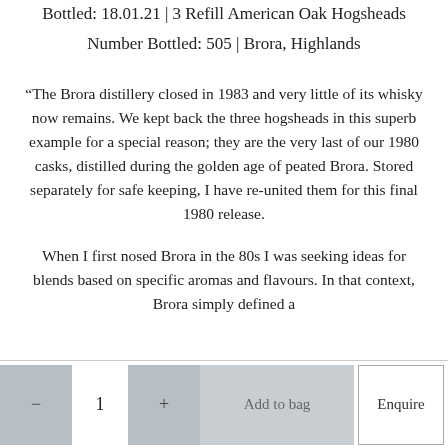Bottled: 18.01.21 | 3 Refill American Oak Hogsheads
Number Bottled: 505 | Brora, Highlands
“The Brora distillery closed in 1983 and very little of its whisky now remains. We kept back the three hogsheads in this superb example for a special reason; they are the very last of our 1980 casks, distilled during the golden age of peated Brora. Stored separately for safe keeping, I have re-united them for this final 1980 release.
When I first nosed Brora in the 80s I was seeking ideas for blends based on specific aromas and flavours. In that context, Brora simply defined a